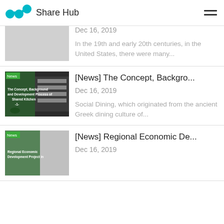Share Hub
Dec 16, 2019
In the 19th and early 20th centuries, in the United States, there were many...
[Figure (photo): Thumbnail image for news article about The Concept, Background and Development Process of Shared Kitchen - with green News badge]
[News] The Concept, Backgro...
Dec 16, 2019
Social Dining, which originated from the ancient Greek dining culture of...
[Figure (photo): Thumbnail image for news article about Regional Economic Development Project with green News badge]
[News] Regional Economic De...
Dec 16, 2019